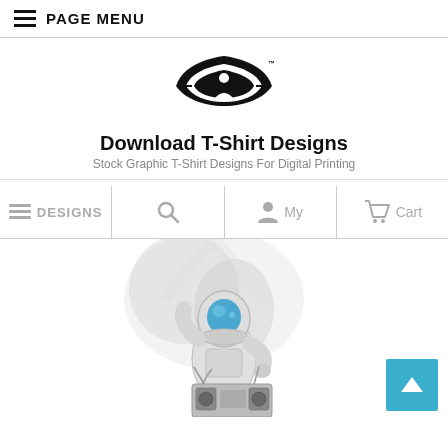☰ PAGE MENU
[Figure (logo): GPD/GID logo — stylized wing/shield emblem in black with TM mark]
Download T-Shirt Designs
Stock Graphic T-Shirt Designs For Digital Printing
≡ DESIGNS  🔍  👤 My  🛒 Cart
[Figure (illustration): Astronaut in spacesuit holding a boombox, with blue visor, illustrated in black and white sketch style with galaxy/smoke background elements]